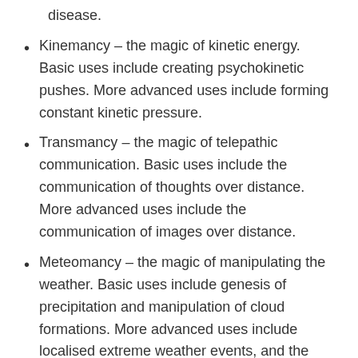disease.
Kinemancy – the magic of kinetic energy. Basic uses include creating psychokinetic pushes. More advanced uses include forming constant kinetic pressure.
Transmancy – the magic of telepathic communication. Basic uses include the communication of thoughts over distance. More advanced uses include the communication of images over distance.
Meteomancy – the magic of manipulating the weather. Basic uses include genesis of precipitation and manipulation of cloud formations. More advanced uses include localised extreme weather events, and the stimulation of severe electrical storms. Pairs well with Hydromancy and Aeromancy.